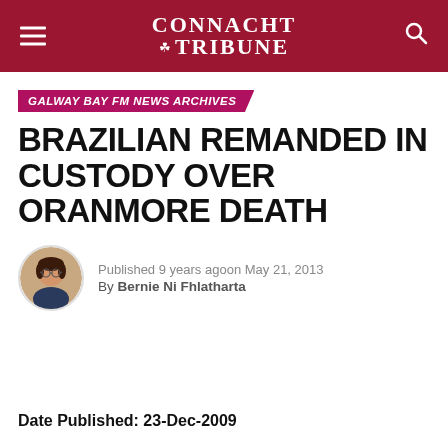CONNACHT TRIBUNE
GALWAY BAY FM NEWS ARCHIVES
BRAZILIAN REMANDED IN CUSTODY OVER ORANMORE DEATH
Published 9 years ago on May 21, 2013
By Bernie Ni Fhlatharta
Date Published: 23-Dec-2009